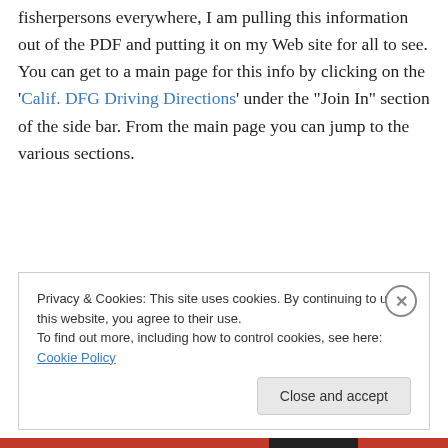fisherpersons everywhere, I am pulling this information out of the PDF and putting it on my Web site for all to see. You can get to a main page for this info by clicking on the 'Calif. DFG Driving Directions' under the "Join In" section of the side bar. From the main page you can jump to the various sections.
Privacy & Cookies: This site uses cookies. By continuing to use this website, you agree to their use. To find out more, including how to control cookies, see here: Cookie Policy